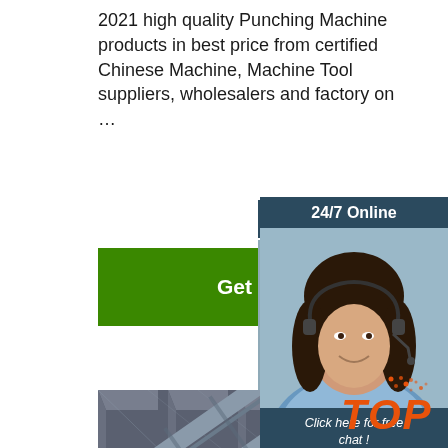2021 high quality Punching Machine products in best price from certified Chinese Machine, Machine Tool suppliers, wholesalers and factory on …
Get Price
24/7 Online
[Figure (photo): Customer service representative woman wearing headset, smiling, with dark hair, in a blue shirt]
Click here for free chat !
QUOTATION
[Figure (photo): Close-up of stacked dark steel angle bar profiles arranged diagonally]
[Figure (logo): Orange TOP logo with dot pattern above the letters]